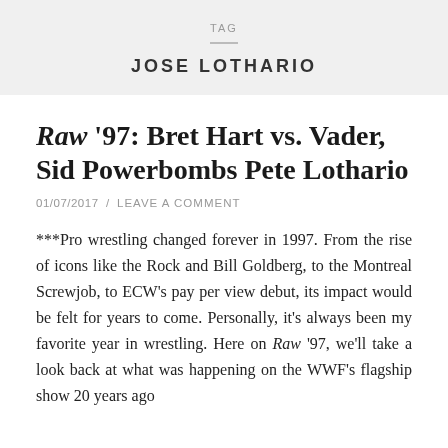TAG
JOSE LOTHARIO
Raw '97: Bret Hart vs. Vader, Sid Powerbombs Pete Lothario
01/07/2017 / LEAVE A COMMENT
***Pro wrestling changed forever in 1997. From the rise of icons like the Rock and Bill Goldberg, to the Montreal Screwjob, to ECW's pay per view debut, its impact would be felt for years to come. Personally, it's always been my favorite year in wrestling. Here on Raw '97, we'll take a look back at what was happening on the WWF's flagship show 20 years ago